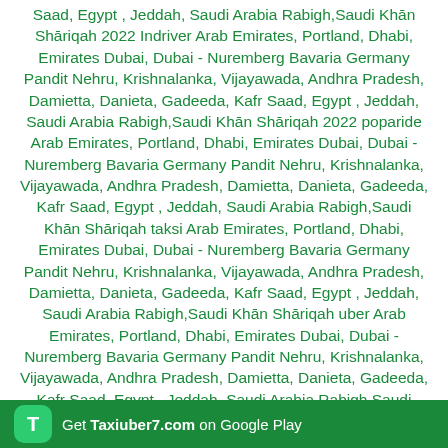Saad, Egypt , Jeddah, Saudi Arabia Rabigh,Saudi Khān Shāriqah 2022 Indriver Arab Emirates, Portland, Dhabi, Emirates Dubai, Dubai - Nuremberg Bavaria Germany Pandit Nehru, Krishnalanka, Vijayawada, Andhra Pradesh, Damietta, Danieta, Gadeeda, Kafr Saad, Egypt , Jeddah, Saudi Arabia Rabigh,Saudi Khān Shāriqah 2022 poparide Arab Emirates, Portland, Dhabi, Emirates Dubai, Dubai - Nuremberg Bavaria Germany Pandit Nehru, Krishnalanka, Vijayawada, Andhra Pradesh, Damietta, Danieta, Gadeeda, Kafr Saad, Egypt , Jeddah, Saudi Arabia Rabigh,Saudi Khān Shāriqah taksi Arab Emirates, Portland, Dhabi, Emirates Dubai, Dubai - Nuremberg Bavaria Germany Pandit Nehru, Krishnalanka, Vijayawada, Andhra Pradesh, Damietta, Danieta, Gadeeda, Kafr Saad, Egypt , Jeddah, Saudi Arabia Rabigh,Saudi Khān Shāriqah uber Arab Emirates, Portland, Dhabi, Emirates Dubai, Dubai - Nuremberg Bavaria Germany Pandit Nehru, Krishnalanka, Vijayawada, Andhra Pradesh, Damietta, Danieta, Gadeeda, Kafr Saad, Egypt , Jeddah, Saudi Arabia Rabigh,Saudi Khān Shāriqah hitchhiking Arab Emirates, Portland, Dhabi, Emirates Dubai, Dubai - Nuremberg Bavaria Germany Pandit Nehru, Krishnalanka, Vijayawada, Andhra Pradesh, Damietta, Danieta, Gadeeda, Kafr Saad, Egypt , Jeddah, Saudi Arabia Rabigh,Saudi Khān Shāriqah mitfahrgelegenheit Arab Emirates, Portland, Dhabi, Emirates Dubai, Dubai - Nuremberg Bavaria Germany Pandit Nehru, Krishnalanka, Vijayawada, Andhra Pradesh, Damietta, Danieta, Gadeeda, Kafr Saad, Egypt , Jeddah, Saudi Arabia Rabigh,Saudi Khān Shāriqah
Get Taxiuber7.com on Google Play